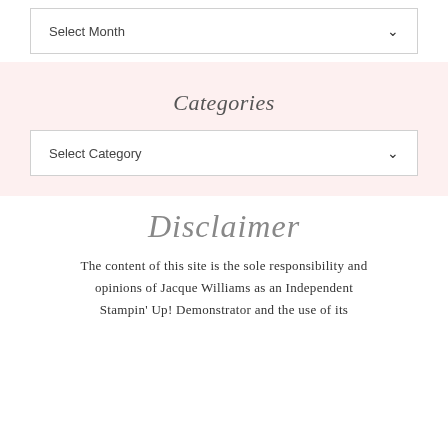Select Month
Categories
Select Category
Disclaimer
The content of this site is the sole responsibility and opinions of Jacque Williams as an Independent Stampin' Up! Demonstrator and the use of its